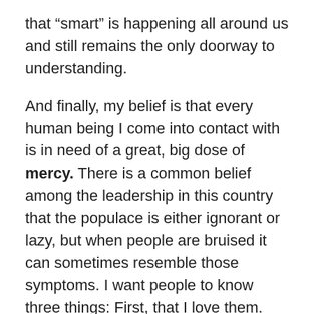that “smart” is happening all around us and still remains the only doorway to understanding.
And finally, my belief is that every human being I come into contact with is in need of a great, big dose of mercy. There is a common belief among the leadership in this country that the populace is either ignorant or lazy, but when people are bruised it can sometimes resemble those symptoms. I want people to know three things: First, that I love them. Second, that Jesus wants to make them look good. And third, that everything we want to accomplish will probably require that we change something. Mercy is what human beings bring when they believe in God enough to actually act it out in the lives of others.
So that’s what I tried to do at Sango last night. Such a delightful group of people, although they were not identical